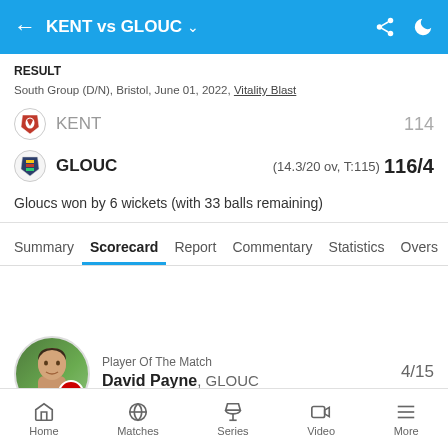KENT vs GLOUC
RESULT
South Group (D/N), Bristol, June 01, 2022, Vitality Blast
KENT  114
GLOUC  (14.3/20 ov, T:115) 116/4
Gloucs won by 6 wickets (with 33 balls remaining)
Summary  Scorecard  Report  Commentary  Statistics  Overs
Player Of The Match
David Payne, GLOUC  4/15